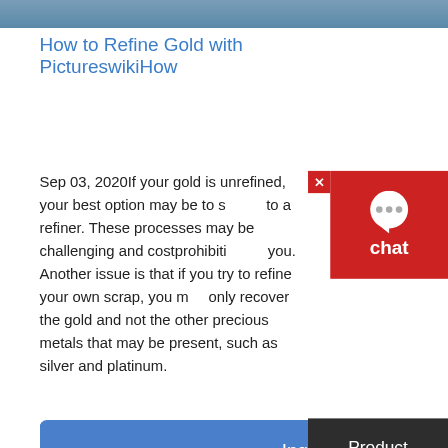[Figure (photo): Top banner image of outdoor/industrial scene, dark blue-grey tones]
How to Refine Gold with PictureswikiHow
Sep 03, 2020If your gold is unrefined, your best option may be to send it to a refiner. These processes may be challenging and costprohibitive for you. Another issue is that if you try to refine your own scrap, you may only recover the gold and not the other precious metals that may be present, such as silver and platinum.
[Figure (screenshot): Inquire Now button - blue rounded rectangle button]
[Figure (screenshot): Product comparison dark panel on right side]
[Figure (photo): Aerial photo of gold mining open pit facility with industrial equipment, machinery, conveyor belts, and storage tanks in red desert landscape]